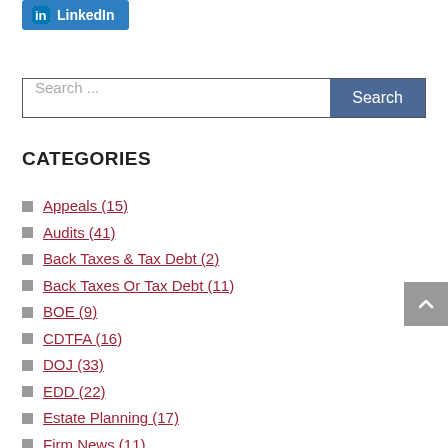[Figure (logo): LinkedIn share button with 'in' logo icon and 'LinkedIn' text on blue background]
Search ...
CATEGORIES
Appeals (15)
Audits (41)
Back Taxes & Tax Debt (2)
Back Taxes Or Tax Debt (11)
BOE (9)
CDTFA (16)
DOJ (33)
EDD (22)
Estate Planning (17)
Firm News (11)